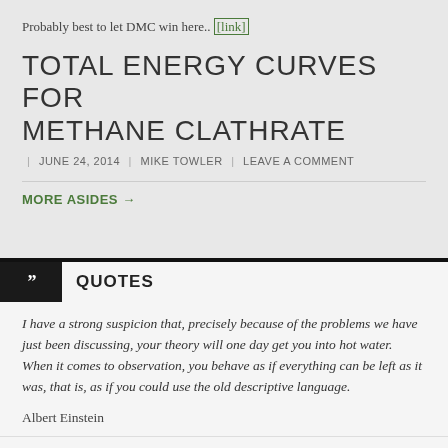Probably best to let DMC win here.. [link]
TOTAL ENERGY CURVES FOR METHANE CLATHRATE
JUNE 24, 2014 | MIKE TOWLER | LEAVE A COMMENT
MORE ASIDES →
QUOTES
I have a strong suspicion that, precisely because of the problems we have just been discussing, your theory will one day get you into hot water. When it comes to observation, you behave as if everything can be left as it was, that is, as if you could use the old descriptive language.
Albert Einstein
HOT WATER
JUNE 2014 | MIKE TOWLER | LEAVE A COMMENT